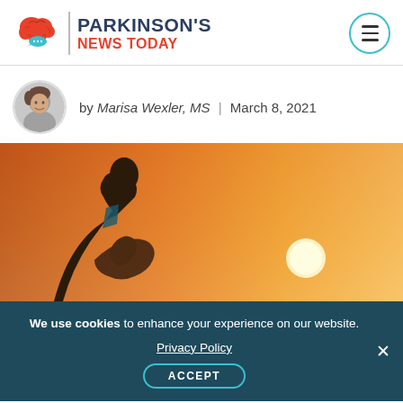PARKINSON'S NEWS TODAY
by Marisa Wexler, MS | March 8, 2021
[Figure (photo): Woman in prayer pose silhouetted against warm orange sunset sky]
We use cookies to enhance your experience on our website. Privacy Policy ACCEPT